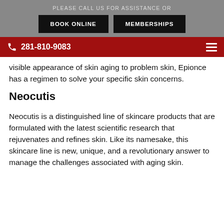PLEASE CALL US FOR ASSISTANCE OR
BOOK ONLINE
MEMBERSHIPS
281-810-9083
visible appearance of skin aging to problem skin, Epionce has a regimen to solve your specific skin concerns.
Neocutis
Neocutis is a distinguished line of skincare products that are formulated with the latest scientific research that rejuvenates and refines skin. Like its namesake, this skincare line is new, unique, and a revolutionary answer to manage the challenges associated with aging skin.